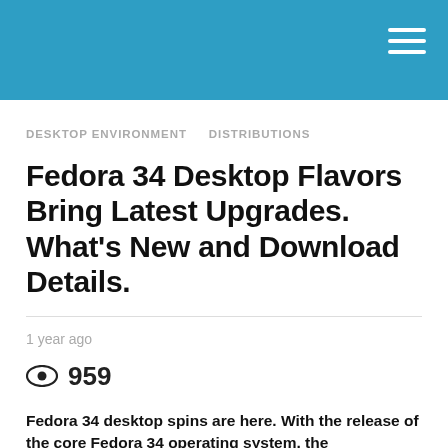DESKTOP ENVIRONMENT   DISTRIBUTIONS
Fedora 34 Desktop Flavors Bring Latest Upgrades. What's New and Download Details.
1 year ago
959
Fedora 34 desktop spins are here. With the release of the core Fedora 34 operating system, the